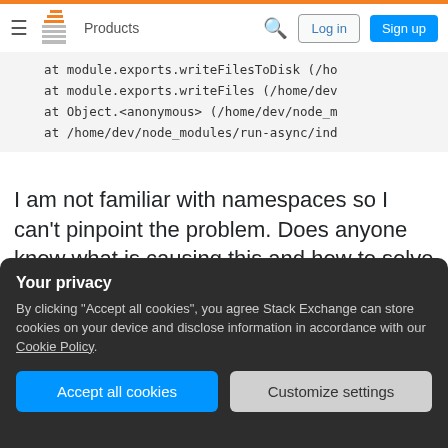Stack Overflow — Products | Log in | Sign up
at module.exports.writeFilesToDisk (/ho
    at module.exports.writeFiles (/home/dev
    at Object.<anonymous> (/home/dev/node_m
    at /home/dev/node_modules/run-async/ind
I am not familiar with namespaces so I can't pinpoint the problem. Does anyone know what is causing this and how to solve it?
jhipster
Your privacy
By clicking "Accept all cookies", you agree Stack Exchange can store cookies on your device and disclose information in accordance with our Cookie Policy.
Accept all cookies | Customize settings
the blueprint with jhipster.